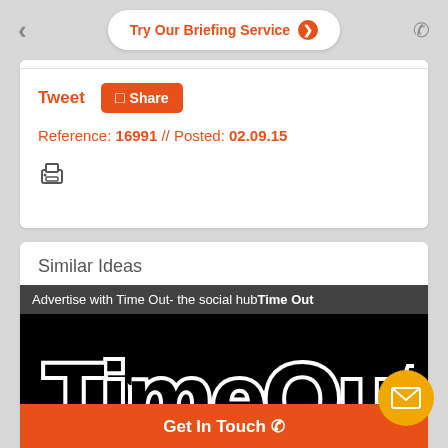Try Our Briefing Service ❯
Tweet  □ Share
Reference: 16991 // Posted: 02.09.15
Similar Ideas
Advertise with Time Out- the social hubTime Out
[Figure (logo): Time Out logo in black and white block letters on black background]
Get In Touch